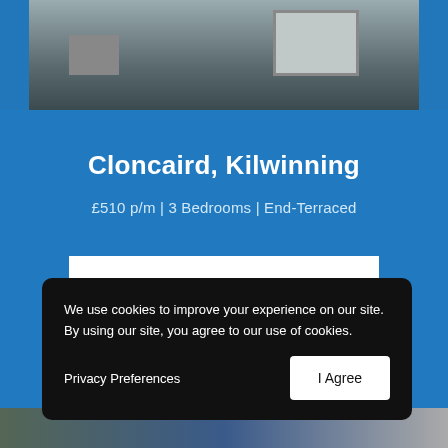[Figure (photo): Exterior photo of a house/property in Cloncaird, Kilwinning, showing a grey rendered building with windows and a door]
Cloncaird, Kilwinning
£510 p/m | 3 Bedrooms | End-Terraced
View Property
We use cookies to improve your experience on our site. By using our site, you agree to our use of cookies.
Privacy Preferences
I Agree
[Figure (photo): Partial view of another property listing below the main listing]